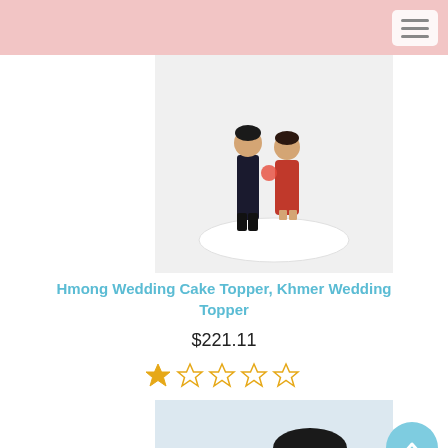[Figure (photo): Wedding cake topper showing two figurines in traditional Hmong/Khmer wedding attire standing on a white circular base. The figures show dark pants and black boots on one figure, and a red dress on the other.]
Hmong Wedding Cake Topper, Khmer Wedding Topper
$221.11
★☆☆☆☆
[Figure (photo): Wedding cake topper showing two cute chibi-style figurines kissing. One has dark hair in a bun (bride) and the other has black hair and wears a black tuxedo with bow tie (groom). Both have large expressive eyes and rounded features.]